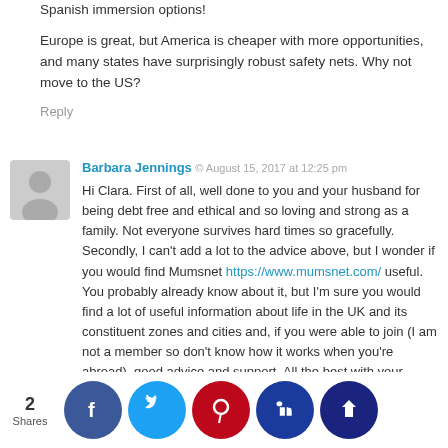Spanish immersion options!
Europe is great, but America is cheaper with more opportunities, and many states have surprisingly robust safety nets. Why not move to the US?
Reply
Barbara Jennings  ©  August 15, 2017 at 12:25 pm
Hi Clara. First of all, well done to you and your husband for being debt free and ethical and so loving and strong as a family. Not everyone survives hard times so gracefully. Secondly, I can't add a lot to the advice above, but I wonder if you would find Mumsnet https://www.mumsnet.com/ useful. You probably already know about it, but I'm sure you would find a lot of useful information about life in the UK and its constituent zones and cities and, if you were able to join (I am not a member so don't know how it works when you're abroad), good advice and support. All the best with your decision and your journey – you sound very grounded and organised, and very so family sure you make a s of w you d
2 Shares